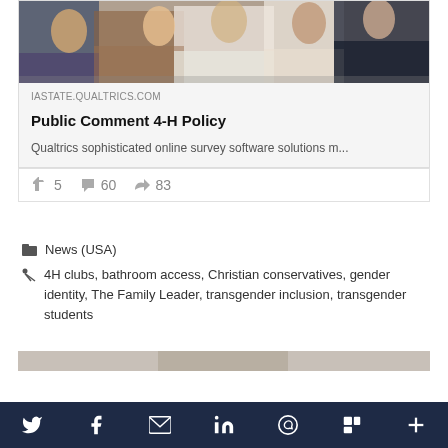[Figure (photo): Group of people at an event, partially cropped at top]
IASTATE.QUALTRICS.COM
Public Comment 4-H Policy
Qualtrics sophisticated online survey software solutions m...
👍 5   💬 60   ➤ 83
📁 News (USA)
🏷 4H clubs, bathroom access, Christian conservatives, gender identity, The Family Leader, transgender inclusion, transgender students
[Figure (photo): Partially visible image at the bottom of the page]
Social share bar with icons: Twitter, Facebook, Email, LinkedIn, WhatsApp, Flipboard, More